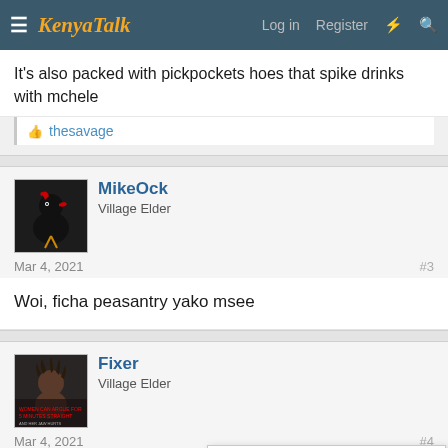KenyaTalk — Log in  Register
It's also packed with pickpockets hoes that spike drinks with mchele
thesavage
MikeOck
Village Elder
Mar 4, 2021  #3
Woi, ficha peasantry yako msee
Fixer
Village Elder
Mar 4, 2021  #4
You cannot view some content because you are browsing this site as a Guest. CREATE AN ACCOUNT to enjoy access to all content.
That's a den of pickpockets, hoodlums, cops and hoes with 564 years of experience in spiking drinks